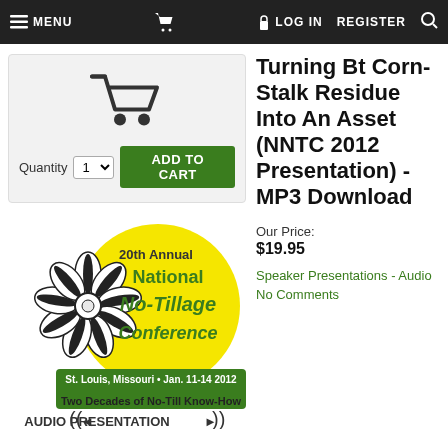MENU  [cart]  LOG IN  REGISTER  [search]
[Figure (screenshot): Shopping cart product page screenshot showing cart icon, quantity selector, Add to Cart button, and 20th Annual National No-Tillage Conference logo with audio presentation banner]
Turning Bt Corn-Stalk Residue Into An Asset (NNTC 2012 Presentation) - MP3 Download
Our Price:
$19.95
Speaker Presentations - Audio
No Comments